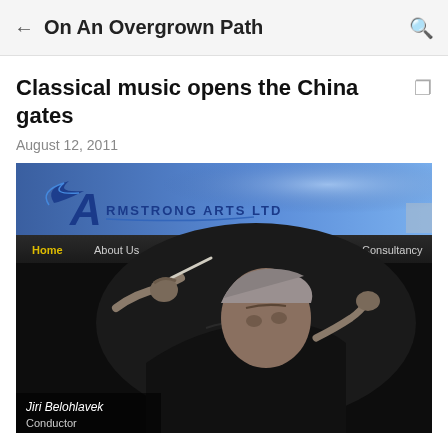On An Overgrown Path
Classical music opens the China gates
August 12, 2011
[Figure (screenshot): Screenshot of Armstrong Arts Ltd website showing a conductor (Jiri Belohlavek) holding a baton, with navigation menu: Home, About Us, Artists Management, Tours & Projects, Consultancy, News. Blue branded header with Armstrong Arts Ltd logo.]